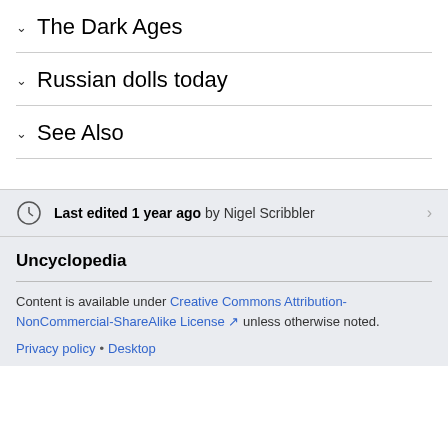The Dark Ages
Russian dolls today
See Also
Last edited 1 year ago by Nigel Scribbler
Uncyclopedia
Content is available under Creative Commons Attribution-NonCommercial-ShareAlike License unless otherwise noted.
Privacy policy • Desktop